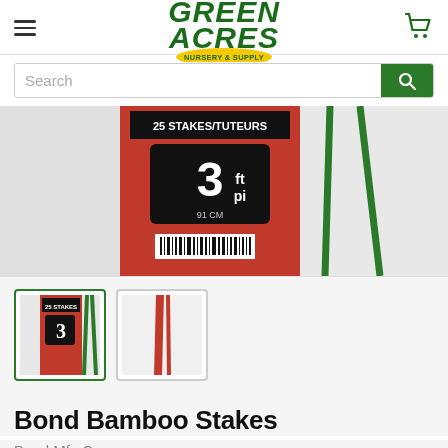Green Acres Nursery & Supply
[Figure (screenshot): Product image of Bond Bamboo Stakes showing a red package labeled 25 STAKES/TUTEURS 3ft 91cm and green bamboo stakes]
[Figure (photo): Thumbnail 1: selected thumbnail of bamboo stakes package]
[Figure (photo): Thumbnail 2: second thumbnail showing close-up of bamboo stake]
Bond Bamboo Stakes
Bond Mfg Co
Write a review